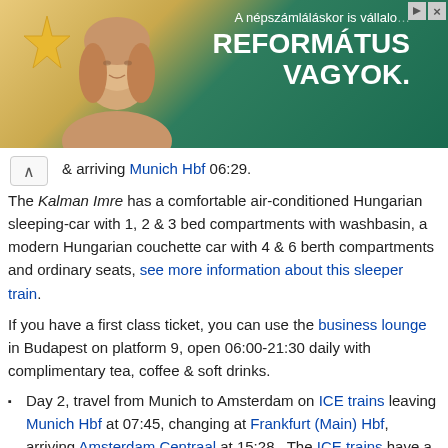[Figure (photo): Advertisement banner with Hungarian text 'A népszámláláskor is vállalo...' and 'REFORMÁTUS VAGYOK.' showing a woman's face against a teal/gold background with a star shape.]
& arriving Munich Hbf 06:29.
The Kalman Imre has a comfortable air-conditioned Hungarian sleeping-car with 1, 2 & 3 bed compartments with washbasin, a modern Hungarian couchette car with 4 & 6 berth compartments and ordinary seats, see more information about this sleeper train.
If you have a first class ticket, you can use the business lounge in Budapest on platform 9, open 06:00-21:30 daily with complimentary tea, coffee & soft drinks.
Day 2, travel from Munich to Amsterdam on ICE trains leaving Munich Hbf at 07:45, changing at Frankfurt (Main) Hbf, arriving Amsterdam Centraal at 15:28. The ICE trains have a restaurant car, power sockets at all seats & free WiFi.
Alternatively, you could travel from Budapest to Vienna by railjet train leaving Budapest Keleti at 15:40 arriving Vienna Hbf at 18:21, then take the Nightjet sleeper train